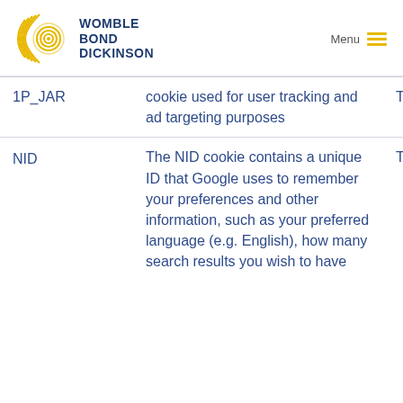[Figure (logo): Womble Bond Dickinson logo with golden circular rings and dark blue text]
| Cookie Name | Description | Type |
| --- | --- | --- |
| 1P_JAR | cookie used for user tracking and ad targeting purposes | Ta… |
| NID | The NID cookie contains a unique ID that Google uses to remember your preferences and other information, such as your preferred language (e.g. English), how many search results you wish to have | Ta… |